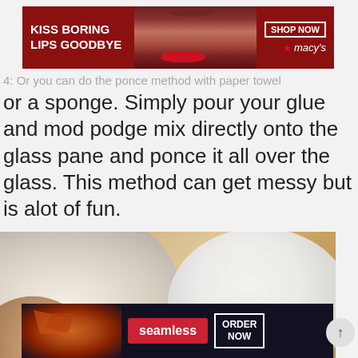[Figure (photo): Macy's advertisement banner: 'KISS BORING LIPS GOODBYE' with a woman's face showing red lips, and 'SHOP NOW / macy's' button on the right]
4: Or you can do the ponce method with paper towel or a sponge. Simply pour your glue and mod podge mix directly onto the glass pane and ponce it all over the glass. This method can get messy but is alot of fun.
[Figure (photo): Photo of a hand holding a crumpled white paper towel or napkin next to a white circular plate/dish on a wooden surface, with a CLOSE button overlay]
[Figure (photo): Seamless food delivery advertisement banner showing pizza slices with 'seamless' logo button and 'ORDER NOW' button]